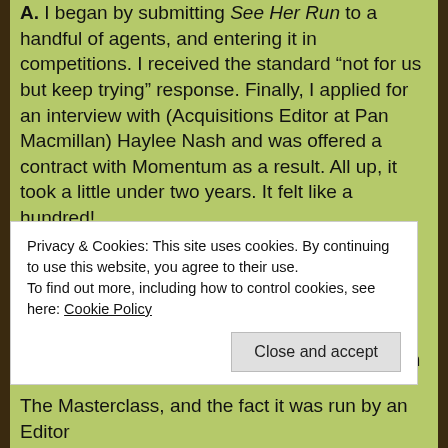A. I began by submitting See Her Run to a handful of agents, and entering it in competitions. I received the standard “not for us but keep trying” response. Finally, I applied for an interview with (Acquisitions Editor at Pan Macmillan) Haylee Nash and was offered a contract with Momentum as a result. All up, it took a little under two years. It felt like a hundred!
Q. Those ‘not-for-us’ responses can be disappointing, especially when you call Ipswich home. For a Queensland writer, Ipswich has to be pretty ideal as far as proximity to the local publishing business. Location, location, location and all that. But you finally struck gold at WriteFest. How did that come about?
Privacy & Cookies: This site uses cookies. By continuing to use this website, you agree to their use.
To find out more, including how to control cookies, see here: Cookie Policy
Close and accept
The Masterclass, and the fact it was run by an Editor